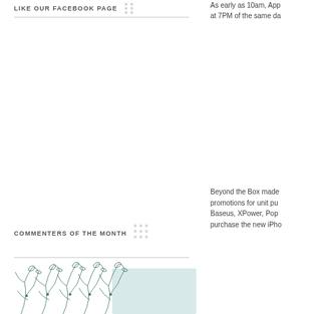LIKE OUR FACEBOOK PAGE
COMMENTERS OF THE MONTH
As early as 10am, App... at 7PM of the same da...
Beyond the Box made... promotions for unit pu... Baseus, XPower, Pop... purchase the new iPho...
[Figure (illustration): Botanical floral line drawing with leaves and branches at bottom of left column]